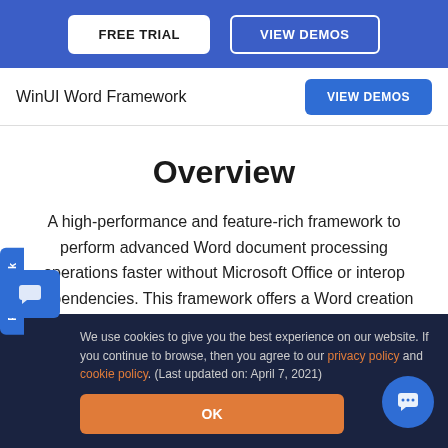FREE TRIAL | VIEW DEMOS
WinUI Word Framework
Overview
A high-performance and feature-rich framework to perform advanced Word document processing operations faster without Microsoft Office or interop dependencies. This framework offers a Word creation
We use cookies to give you the best experience on our website. If you continue to browse, then you agree to our privacy policy and cookie policy.  (Last updated on: April 7, 2021)